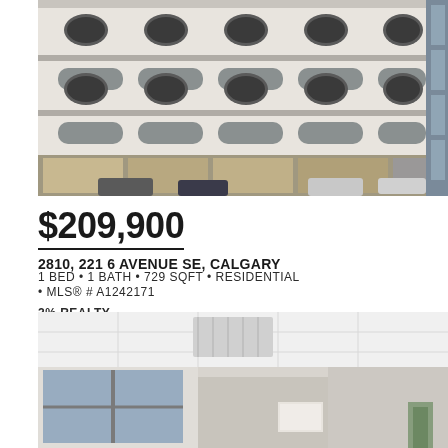[Figure (photo): Exterior photo of a multi-storey commercial/residential building with distinctive oval windows and horizontal stripe facade, street-level shops, and cars parked in front]
$209,900
2810, 221 6 AVENUE SE, CALGARY
1 BED • 1 BATH • 729 SQFT • RESIDENTIAL • MLS® # A1242171
2% REALTY
[Figure (photo): Interior photo of a bright open space with drop ceiling, recessed lighting, large windows, and minimal furnishings visible]